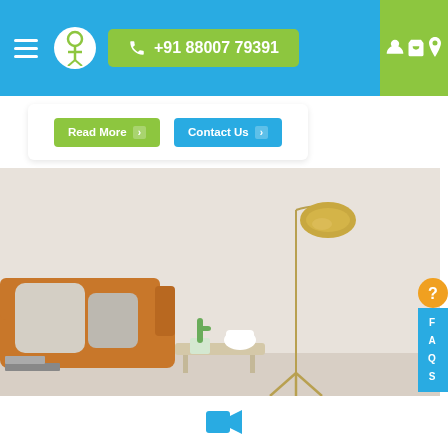[Figure (screenshot): Website navigation bar with hamburger menu, logo, phone number button (+91 88007 79391), and green right panel with user/cart/location icons]
[Figure (screenshot): White card with 'Read More' and 'Contact Us' green buttons]
[Figure (photo): Living room interior with a gold tripod floor lamp, orange sofa with cushions, small cactus and white vase on a side table, light beige wall]
[Figure (screenshot): FAQS vertical sidebar with yellow question mark icon and blue bar with text F A Q S]
[Figure (screenshot): Bottom white section with blue video camera icon]